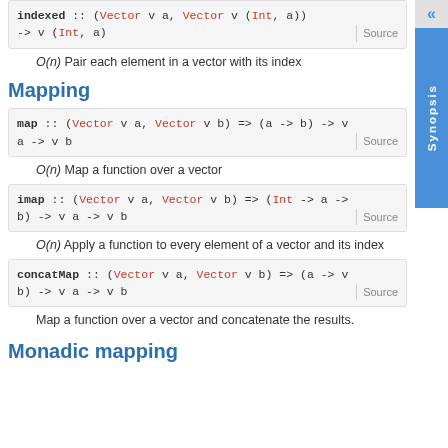indexed :: (Vector v a, Vector v (Int, a)) -> v a -> v (Int, a)   Source
O(n) Pair each element in a vector with its index
Mapping
map :: (Vector v a, Vector v b) => (a -> b) -> v a -> v b   Source
O(n) Map a function over a vector
imap :: (Vector v a, Vector v b) => (Int -> a -> b) -> v a -> v b   Source
O(n) Apply a function to every element of a vector and its index
concatMap :: (Vector v a, Vector v b) => (a -> v b) -> v a -> v b   Source
Map a function over a vector and concatenate the results.
Monadic mapping